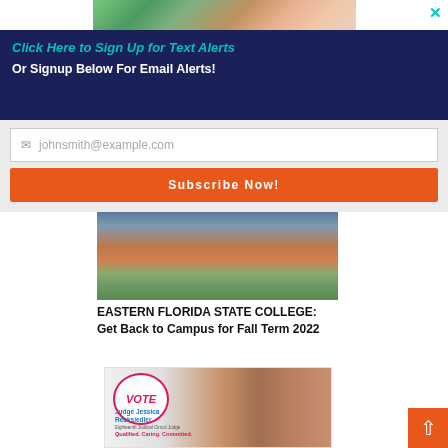[Figure (photo): Top image strip showing trees with pink blossoms and green foliage]
Click Here to Sign Up for Text Alerts
Or Signup Below For Email Alerts!
johnsmith@example.com (placeholder)
Subscribe Now!
[Figure (photo): Person in orange/red clothing outdoors with green foliage background]
EASTERN FLORIDA STATE COLLEGE: Get Back to Campus for Fall Term 2022
[Figure (photo): Campaign photo for Judge Jessica Recksiedler with VOTE stamp overlay. Text: Judge Jessica Recksiedler, Eighteenth Judicial Circuit Judge, Qualified. Caring. Committed.]